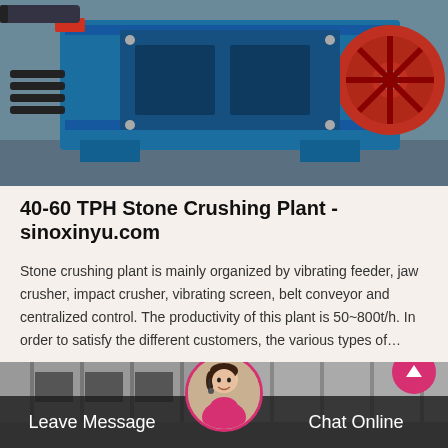[Figure (photo): Blue and red industrial stone crusher / jaw crusher machine in a factory setting]
40-60 TPH Stone Crushing Plant - sinoxinyu.com
Stone crushing plant is mainly organized by vibrating feeder, jaw crusher, impact crusher, vibrating screen, belt conveyor and centralized control. The productivity of this plant is 50~800t/h. In order to satisfy the different customers, the various types of…
[Figure (other): Pink 'Get Price' button]
[Figure (photo): Industrial building/warehouse exterior photo at bottom of page]
Leave Message    Chat Online